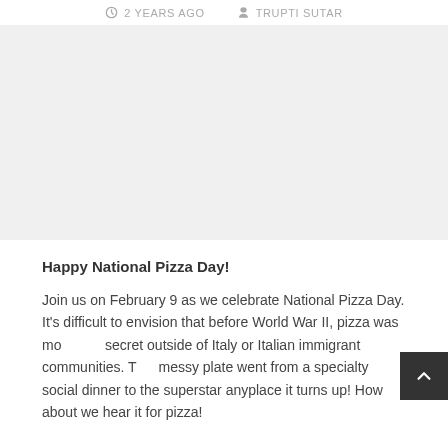2 YEARS AGO   TRUPTI SUTAR
[Figure (photo): Large image placeholder area (light gray background), likely a pizza-related photo]
Happy National Pizza Day!
Join us on February 9 as we celebrate National Pizza Day. It's difficult to envision that before World War II, pizza was more of a secret outside of Italy or Italian immigrant communities. This messy plate went from a specialty social dinner to the superstar anyplace it turns up! How about we hear it for pizza!